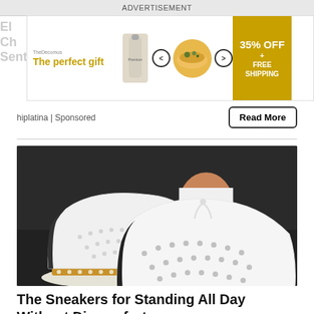ADVERTISEMENT
[Figure (photo): Promotional ad banner: 'The perfect gift' with food product imagery, navigation arrows, bowl of food, and '35% OFF + FREE SHIPPING' offer badge]
hiplatina | Sponsored
Read More
[Figure (photo): Close-up photo of white slip-on sneakers with perforated pattern and espadrille-style soles, worn by a person in white jeans on a dark textured surface]
The Sneakers for Standing All Day Without Discomfort
dotmall | Sponsored
Shop Now